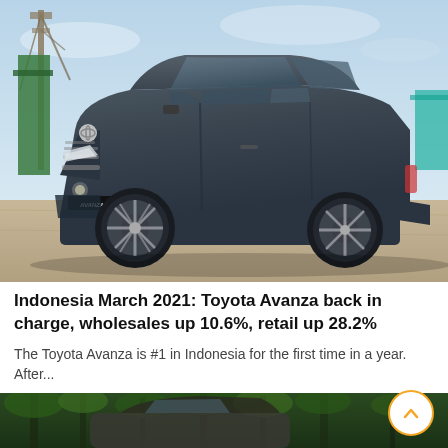[Figure (photo): A dark grey/blue Toyota Avanza MPV photographed outdoors near a harbor with a sailing ship mast and green structure visible in the background. The car faces left-front angle showing its front grille with Toyota logo and the Avanza badge on the license plate area.]
Indonesia March 2021: Toyota Avanza back in charge, wholesales up 10.6%, retail up 28.2%
The Toyota Avanza is #1 in Indonesia for the first time in a year. After...
[Figure (photo): Partial view of a vehicle photographed in a forested/jungle setting with trees and green foliage. Only the top portion of the image is visible at the bottom of the page.]